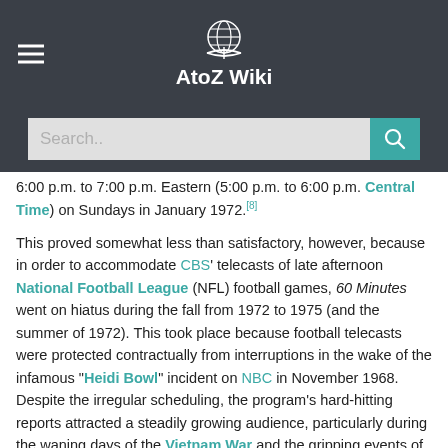AtoZ Wiki
6:00 p.m. to 7:00 p.m. Eastern (5:00 p.m. to 6:00 p.m. Central Time) on Sundays in January 1972.[8]
This proved somewhat less than satisfactory, however, because in order to accommodate CBS' telecasts of late afternoon National Football League (NFL) football games, 60 Minutes went on hiatus during the fall from 1972 to 1975 (and the summer of 1972). This took place because football telecasts were protected contractually from interruptions in the wake of the infamous "Heidi Bowl" incident on NBC in November 1968. Despite the irregular scheduling, the program's hard-hitting reports attracted a steadily growing audience, particularly during the waning days of the Vietnam War and the gripping events of the Watergate scandal; at that time, few if any other major network news shows did in-depth investigative reporting to the degree carried out by 60 Minutes. Eventually, during the summers of 1973 through 1975, CBS did